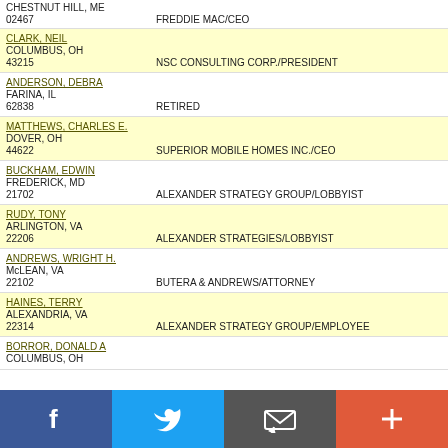CHESTNUT HILL, ME
02467   FREDDIE MAC/CEO
CLARK, NEIL
COLUMBUS, OH
43215   NSC CONSULTING CORP./PRESIDENT
ANDERSON, DEBRA
FARINA, IL
62838   RETIRED
MATTHEWS, CHARLES E.
DOVER, OH
44622   SUPERIOR MOBILE HOMES INC./CEO
BUCKHAM, EDWIN
FREDERICK, MD
21702   ALEXANDER STRATEGY GROUP/LOBBYIST
RUDY, TONY
ARLINGTON, VA
22206   ALEXANDER STRATEGIES/LOBBYIST
ANDREWS, WRIGHT H.
McLEAN, VA
22102   BUTERA & ANDREWS/ATTORNEY
HAINES, TERRY
ALEXANDRIA, VA
22314   ALEXANDER STRATEGY GROUP/EMPLOYEE
BORROR, DONALD A
COLUMBUS, OH
[Figure (infographic): Social media share bar with Facebook, Twitter, email, and add/share buttons]